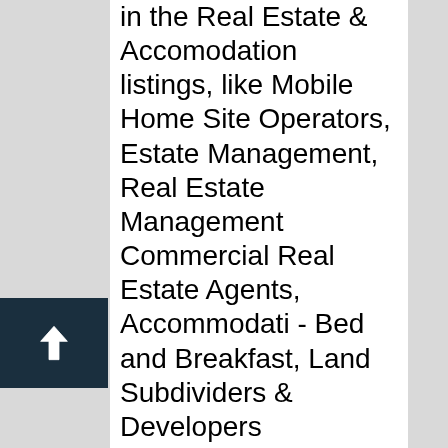in the Real Estate & Accomodation listings, like Mobile Home Site Operators, Estate Management, Real Estate Management Commercial Real Estate Agents, Accommodati - Bed and Breakfast, Land Subdividers & Developers Commercial and many more. 123 Mortgage is a Real Estate Loans expert